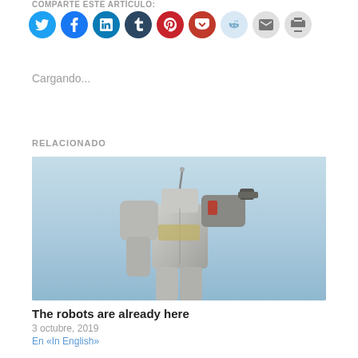COMPARTE ESTE ARTÍCULO:
[Figure (other): Row of social media share icon buttons: Twitter (blue), Facebook (blue), LinkedIn (teal), Tumblr (dark navy), Pinterest (red), Pocket (red), Reddit (light blue), Email (gray), Print (gray)]
Cargando...
RELACIONADO
[Figure (photo): Photo of a large robot/mecha statue (Gundam) photographed from below against a light blue sky]
The robots are already here
3 octubre, 2019
En «In English»